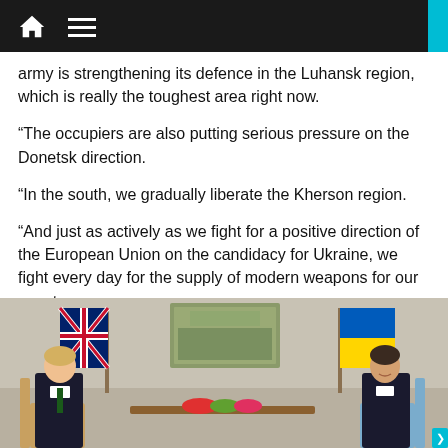Navigation bar with home and menu icons
army is strengthening its defence in the Luhansk region, which is really the toughest area right now.
“The occupiers are also putting serious pressure on the Donetsk direction.
“In the south, we gradually liberate the Kherson region.
“And just as actively as we fight for a positive direction of the European Union on the candidacy for Ukraine, we fight every day for the supply of modern weapons for our country.
[Figure (photo): Two men seated facing each other in an ornate room. On the left is a man in a dark suit (Boris Johnson). On the right is another man in a dark suit (Zelensky). UK flag on the left, Ukrainian flag on the right. Formal meeting setting with golden chairs and wood paneling.]